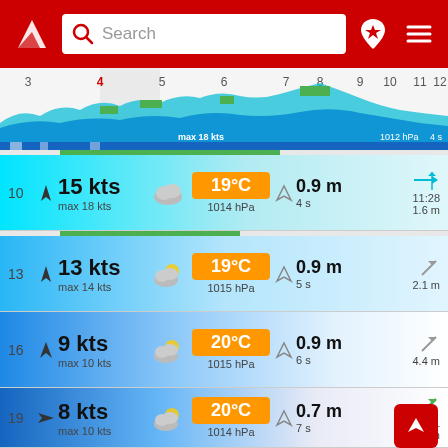[Figure (screenshot): App header with red background, logo, search bar, location pin icon and hamburger menu]
[Figure (infographic): Timeline bar showing hours 3-12 with wave/wind chart]
10  15 kts  max 18 kts  19°C  1014 hPa  0.9 m  4 s  11:28  1.6 m
13  13 kts  max 14 kts  19°C  1015 hPa  0.9 m  5 s  2.1 m
16  9 kts  max 10 kts  20°C  1015 hPa  0.9 m  6 s  4.4 m
19  8 kts  max 10 kts  20°C  1014 hPa  0.7 m  7 s  17:51  5.1 m
22  13 kts  19°C  0.7 m